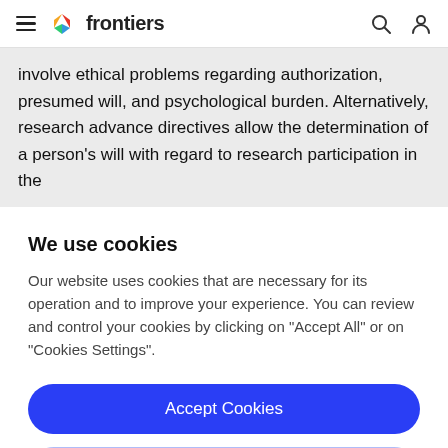frontiers
involve ethical problems regarding authorization, presumed will, and psychological burden. Alternatively, research advance directives allow the determination of a person's will with regard to research participation in the
We use cookies
Our website uses cookies that are necessary for its operation and to improve your experience. You can review and control your cookies by clicking on "Accept All" or on "Cookies Settings".
Accept Cookies
Cookies Settings